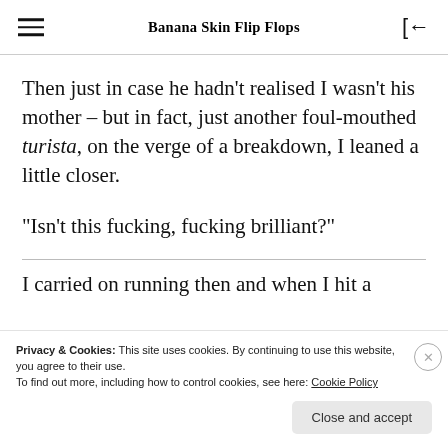Banana Skin Flip Flops
Then just in case he hadn't realised I wasn't his mother – but in fact, just another foul-mouthed turista, on the verge of a breakdown, I leaned a little closer.
“Isn’t this fucking, fucking brilliant?”
I carried on running then and when I hit a
Privacy & Cookies: This site uses cookies. By continuing to use this website, you agree to their use.
To find out more, including how to control cookies, see here: Cookie Policy